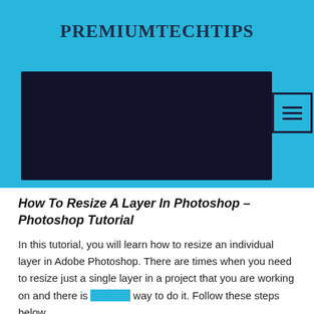PREMIUMTECHTIPS
[Figure (screenshot): Website header screenshot showing a dark banner with a cyan/blue border and a hamburger menu button on the right side against a cyan background]
How To Resize A Layer In Photoshop – Photoshop Tutorial
In this tutorial, you will learn how to resize an individual layer in Adobe Photoshop. There are times when you need to resize just a single layer in a project that you are working on and there is an easy way to do it. Follow these steps below.